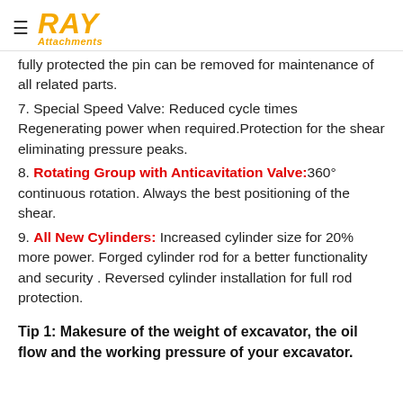RAY Attachments
fully protected the pin can be removed for maintenance of all related parts.
7. Special Speed Valve: Reduced cycle times Regenerating power when required.Protection for the shear eliminating pressure peaks.
8. Rotating Group with Anticavitation Valve:360° continuous rotation. Always the best positioning of the shear.
9. All New Cylinders: Increased cylinder size for 20% more power. Forged cylinder rod for a better functionality and security . Reversed cylinder installation for full rod protection.
Tip 1: Makesure of the weight of excavator, the oil flow and the working pressure of your excavator.